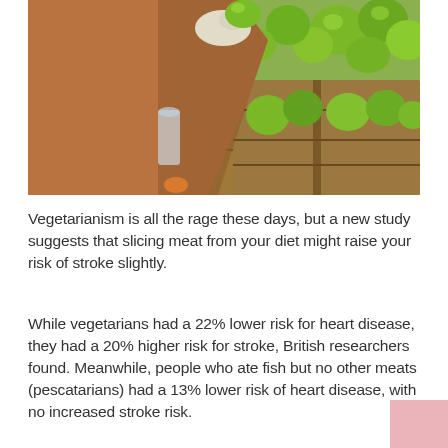[Figure (photo): A person in a brown sweater wearing a white glove picking green apples from wooden crates at a market or grocery store.]
Vegetarianism is all the rage these days, but a new study suggests that slicing meat from your diet might raise your risk of stroke slightly.
While vegetarians had a 22% lower risk for heart disease, they had a 20% higher risk for stroke, British researchers found. Meanwhile, people who ate fish but no other meats (pescatarians) had a 13% lower risk of heart disease, with no increased stroke risk.